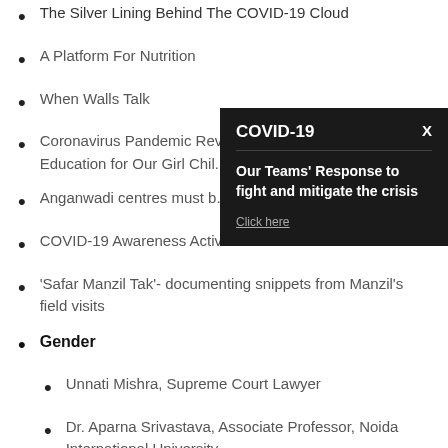The Silver Lining Behind The COVID-19 Cloud
A Platform For Nutrition
When Walls Talk
Coronavirus Pandemic Revi... Education for Our Girl Chil...
Anganwadi centres must b...
COVID-19 Awareness Activ...
'Safar Manzil Tak'- documenting snippets from Manzil's field visits
Gender
Unnati Mishra, Supreme Court Lawyer
Dr. Aparna Srivastava, Associate Professor, Noida International University
[Figure (screenshot): COVID-19 popup overlay with title 'COVID-19', a close button 'X', a divider line, bold text 'Our Teams' Response to fight and mitigate the crisis', and a 'Click here' link]